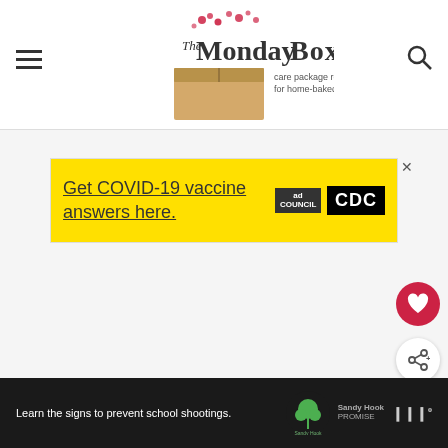The Monday Box — care package recipes for home-baked love
[Figure (screenshot): Yellow advertisement banner: Get COVID-19 vaccine answers here. Ad Council and CDC logos.]
[Figure (infographic): Red circular heart/save button and white circular share button on right side]
WHAT'S NEXT → Birthday Cake Surprise...
[Figure (screenshot): Dark bottom advertisement bar: Learn the signs to prevent school shootings. Sandy Hook Promise and Moms Demand Action logos.]